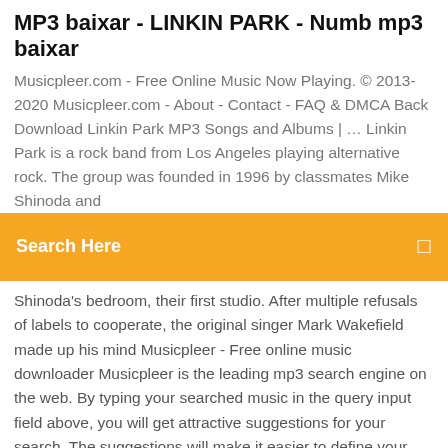MP3 baixar - LINKIN PARK - Numb mp3 baixar
Musicpleer.com - Free Online Music Now Playing. © 2013-2020 Musicpleer.com - About - Contact - FAQ & DMCA Back Download Linkin Park MP3 Songs and Albums | … Linkin Park is a rock band from Los Angeles playing alternative rock. The group was founded in 1996 by classmates Mike Shinoda and
[Figure (other): Orange search bar with text 'Search Here' and a search icon on the right]
Shinoda's bedroom, their first studio. After multiple refusals of labels to cooperate, the original singer Mark Wakefield made up his mind Musicpleer - Free online music downloader Musicpleer is the leading mp3 search engine on the web. By typing your searched music in the query input field above, you will get attractive suggestions for your search. The suggestions will make it easier to define your wanted search and find the correct files for you. If you see the exact title in the suggestion list, than just click it and the search will be performed at all our services.